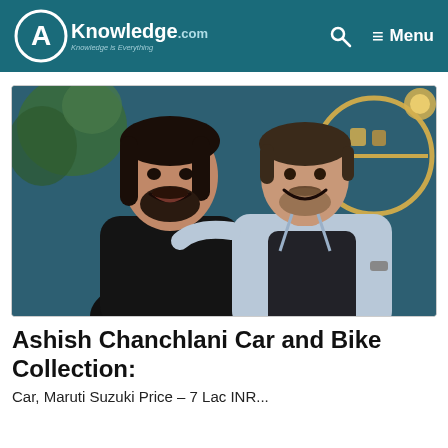AKnowledge.com — Knowledge is Everything | Menu
[Figure (photo): Two smiling men posing together indoors. The man on the left has long dark hair, a beard, and wears a dark shirt. The man on the right has shorter hair, a light mustache, and wears a light blue denim jacket. Background shows a teal wall with a circular gold shelf unit and plants.]
Ashish Chanchlani Car and Bike Collection:
Car, Maruti Suzuki Price – 7 Lac INR...